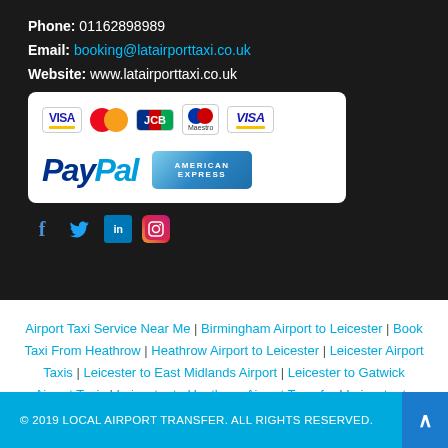Phone: 01162898989
Email: booking@latairporttaxi.co.uk
Website: www.latairporttaxi.co.uk
[Figure (logo): Payment methods logos: VISA, MasterCard, JCB, Maestro, VISA, PayPal, American Express]
[Figure (infographic): Social media icons: Facebook, Twitter, LinkedIn, Instagram]
Airport Taxi Service Near Me | Birmingham Airport to Leicester | Book Taxi From Heathrow | Heathrow Airport to Leicester | Leicester Airport Taxis | Leicester to East Midlands Airport | Leicester to Gatwick Airport Taxis | Leicester to Heathrow Airport Transfer | Leicester to Luton Airport | Stansted Airport Taxis
© 2019 LOCAL AIRPORT TRANSFER. ALL RIGHTS RESERVED.